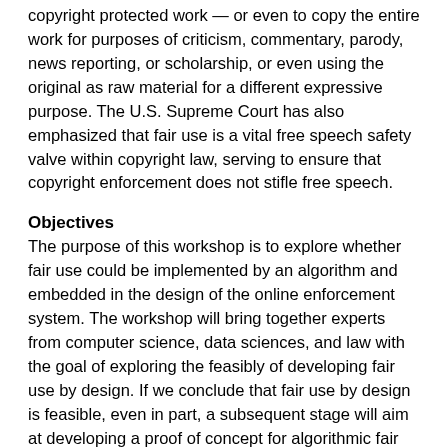copyright protected work — or even to copy the entire work for purposes of criticism, commentary, parody, news reporting, or scholarship, or even using the original as raw material for a different expressive purpose. The U.S. Supreme Court has also emphasized that fair use is a vital free speech safety valve within copyright law, serving to ensure that copyright enforcement does not stifle free speech.
Objectives
The purpose of this workshop is to explore whether fair use could be implemented by an algorithm and embedded in the design of the online enforcement system. The workshop will bring together experts from computer science, data sciences, and law with the goal of exploring the feasibly of developing fair use by design. If we conclude that fair use by design is feasible, even in part, a subsequent stage will aim at developing a proof of concept for algorithmic fair use (i.e., by open hackathons/competition).